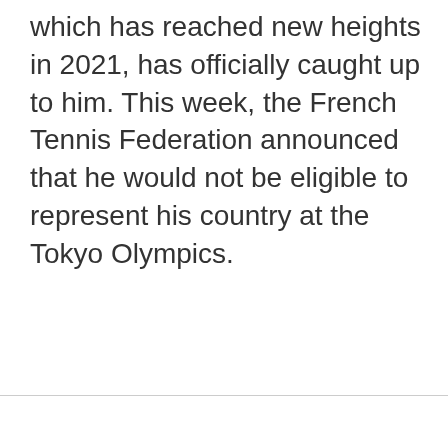which has reached new heights in 2021, has officially caught up to him. This week, the French Tennis Federation announced that he would not be eligible to represent his country at the Tokyo Olympics.